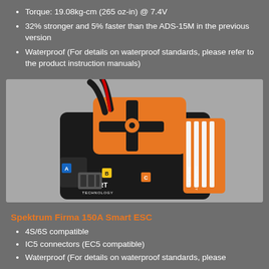Torque: 19.08kg-cm (265 oz-in) @ 7.4V
32% stronger and 5% faster than the ADS-15M in the previous version
Waterproof (For details on waterproof standards, please refer to the product instruction manuals)
[Figure (photo): Photo of a Spektrum Firma 150A Smart ESC electronic speed controller, shown in black and orange color scheme with SMART TECHNOLOGY branding, a cooling fan on top, heat sink fins on the right side, and labeled connectors A, B, C.]
Spektrum Firma 150A Smart ESC
4S/6S compatible
IC5 connectors (EC5 compatible)
Waterproof (For details on waterproof standards, please